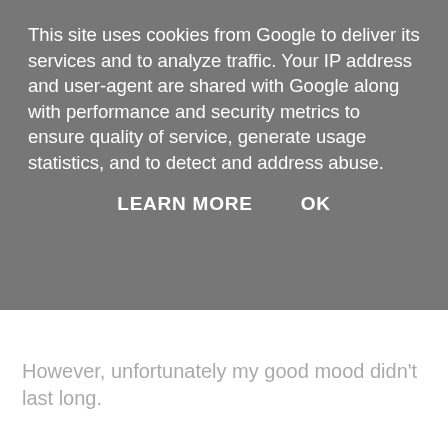This site uses cookies from Google to deliver its services and to analyze traffic. Your IP address and user-agent are shared with Google along with performance and security metrics to ensure quality of service, generate usage statistics, and to detect and address abuse.
LEARN MORE   OK
However, unfortunately my good mood didn't last long.
Four days after his birth Milo, was proving to be a very high need baby. He would feed constantly and didn't sleep well at all. During the day he needed to be held and at night he woke every two hours. He screamed a lot, very loudly. I began to struggle. This time I managed to soldier on for about 6 weeks. During this time I would often find myself sat on the sofa tears pouring down my face while Milo screamed and Louie played at my feet. Eventually it became